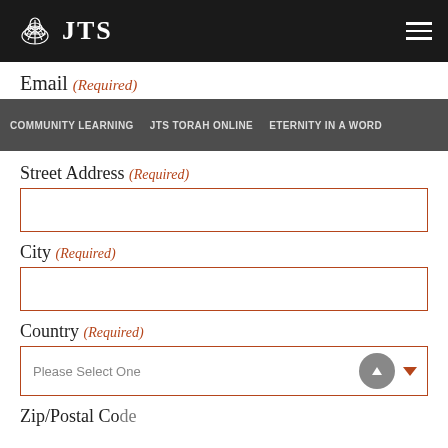JTS
Email (Required)
COMMUNITY LEARNING  JTS TORAH ONLINE  ETERNITY IN A WORD
Street Address (Required)
City (Required)
Country (Required)
Please Select One
Zip/Postal Code